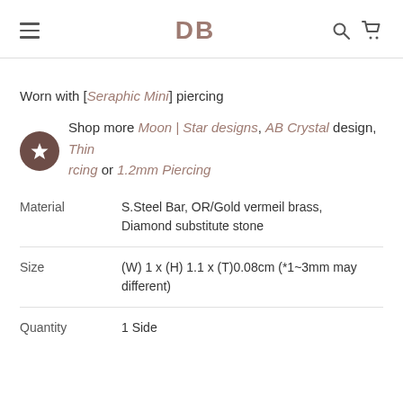DB
Worn with [Seraphic Mini] piercing
Shop more Moon | Star designs, AB Crystal design, Thin rcing or 1.2mm Piercing
|  |  |
| --- | --- |
| Material | S.Steel Bar, OR/Gold vermeil brass, Diamond substitute stone |
| Size | (W) 1 x (H) 1.1 x (T)0.08cm (*1~3mm may different) |
| Quantity | 1 Side |